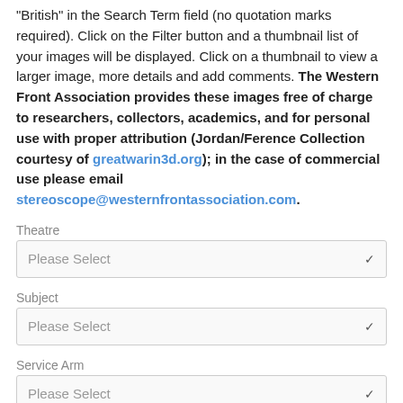"British" in the Search Term field (no quotation marks required). Click on the Filter button and a thumbnail list of your images will be displayed. Click on a thumbnail to view a larger image, more details and add comments. The Western Front Association provides these images free of charge to researchers, collectors, academics, and for personal use with proper attribution (Jordan/Ference Collection courtesy of greatwarin3d.org); in the case of commercial use please email stereoscope@westernfrontassociation.com.
Theatre
Please Select
Subject
Please Select
Service Arm
Please Select
Source